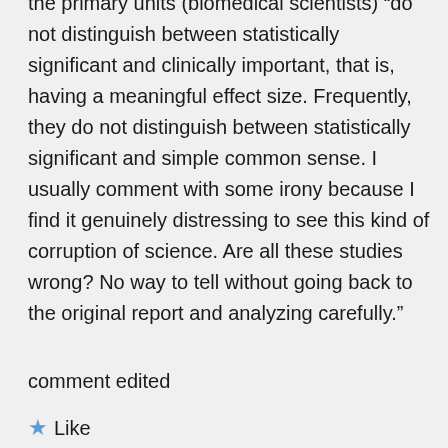the primary units (biomedical scientists) “do not distinguish between statistically significant and clinically important, that is, having a meaningful effect size. Frequently, they do not distinguish between statistically significant and simple common sense. I usually comment with some irony because I find it genuinely distressing to see this kind of corruption of science. Are all these studies wrong? No way to tell without going back to the original report and analyzing carefully.”
comment edited
★ Like